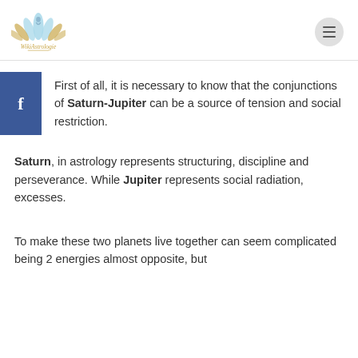[Figure (logo): WikiAstrologie lotus flower logo with text 'WikiAstrologie' beneath it in gold italic serif font]
First of all, it is necessary to know that the conjunctions of Saturn-Jupiter can be a source of tension and social restriction.
Saturn, in astrology represents structuring, discipline and perseverance. While Jupiter represents social radiation, excesses.
To make these two planets live together can seem complicated being 2 energies almost opposite, but